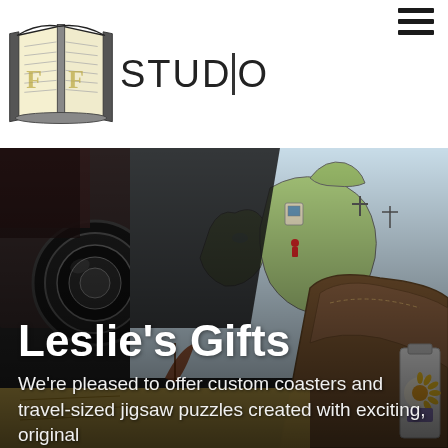[Figure (logo): FF Studio logo: open book illustration in black ink with yellow/cream pages, with text 'STUD|O' to the right in dark sans-serif font, and a hamburger menu icon in the top right corner]
[Figure (photo): Hero image showing a colorful illustrated map puzzle/coaster of Britain and Ireland, a leather pouch/bag, a camera lens, dark fabric, and a small bottle with sunflower design, arranged as travel gifts]
Leslie's Gifts
We're pleased to offer custom coasters and travel-sized jigsaw puzzles created with exciting, original